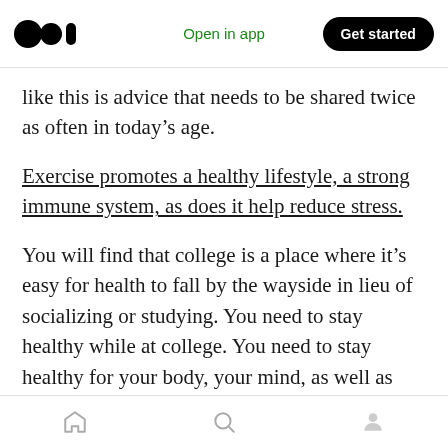Medium logo | Open in app | Get started
like this is advice that needs to be shared twice as often in today's age.
Exercise promotes a healthy lifestyle, a strong immune system, as does it help reduce stress.
You will find that college is a place where it's easy for health to fall by the wayside in lieu of socializing or studying. You need to stay healthy while at college. You need to stay healthy for your body, your mind, as well as your grades.
You will be surrounded by people with very
Home | Search | Profile